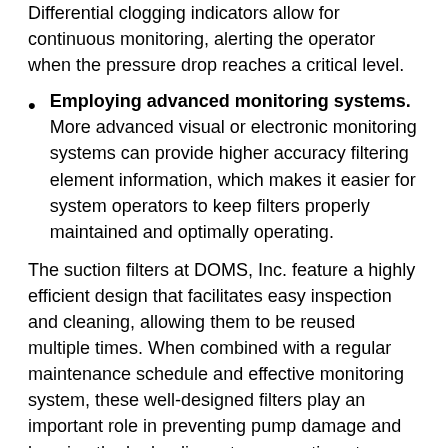Differential clogging indicators allow for continuous monitoring, alerting the operator when the pressure drop reaches a critical level.
Employing advanced monitoring systems. More advanced visual or electronic monitoring systems can provide higher accuracy filtering element information, which makes it easier for system operators to keep filters properly maintained and optimally operating.
The suction filters at DOMS, Inc. feature a highly efficient design that facilitates easy inspection and cleaning, allowing them to be reused multiple times. When combined with a regular maintenance schedule and effective monitoring system, these well-designed filters play an important role in preventing pump damage and keeping the hydraulic system operating at optimal capacity.
What the Difference Bet...